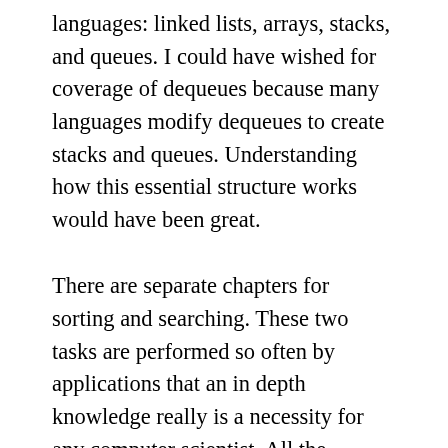languages: linked lists, arrays, stacks, and queues. I could have wished for coverage of dequeues because many languages modify dequeues to create stacks and queues. Understanding how this essential structure works would have been great.
There are separate chapters for sorting and searching. These two tasks are performed so often by applications that an in depth knowledge really is a necessity for any computer scientist. All the common sorts are covered in sufficient detail that the reader should understand them with relative ease: insertion, selection, bubble, heap, quick, and merge. In addition, you find the counting and